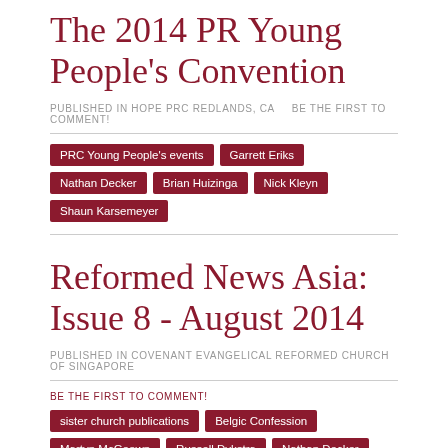The 2014 PR Young People's Convention
PUBLISHED IN HOPE PRC REDLANDS, CA    BE THE FIRST TO COMMENT!
PRC Young People's events
Garrett Eriks
Nathan Decker
Brian Huizinga
Nick Kleyn
Shaun Karsemeyer
Reformed News Asia: Issue 8 - August 2014
PUBLISHED IN COVENANT EVANGELICAL REFORMED CHURCH OF SINGAPORE
BE THE FIRST TO COMMENT!
sister church publications
Belgic Confession
Martyn McGeown
Russell Dykstra
Nathan Decker
Christian education